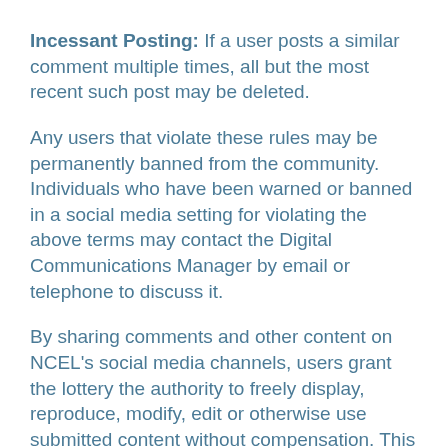Incessant Posting: If a user posts a similar comment multiple times, all but the most recent such post may be deleted.
Any users that violate these rules may be permanently banned from the community. Individuals who have been warned or banned in a social media setting for violating the above terms may contact the Digital Communications Manager by email or telephone to discuss it.
By sharing comments and other content on NCEL's social media channels, users grant the lottery the authority to freely display, reproduce, modify, edit or otherwise use submitted content without compensation. This includes rights to use any ideas you submit, in any manner, without notification.
Any content posted on the lottery's social media pages or addressed to the lottery through social media is subject to